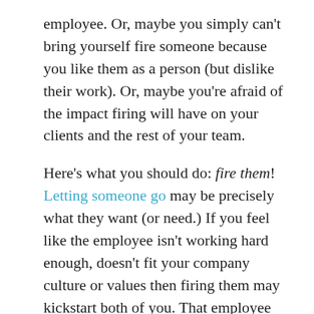employee. Or, maybe you simply can't bring yourself fire someone because you like them as a person (but dislike their work). Or, maybe you're afraid of the impact firing will have on your clients and the rest of your team.
Here's what you should do: fire them! Letting someone go may be precisely what they want (or need.) If you feel like the employee isn't working hard enough, doesn't fit your company culture or values then firing them may kickstart both of you. That employee will go on to do something new, and your other team members will respect you for it.
Remember, you're the owner. You have to set an example. If you're still hesitant, think